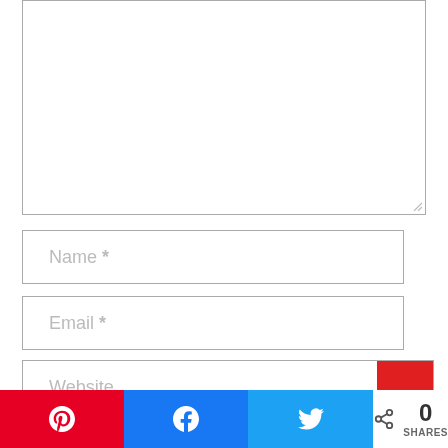[Figure (screenshot): A web comment form with a large textarea (comment box), Name field, Email field, and Website field input boxes, plus a red submit button. Below is a social sharing bar with Pinterest, Facebook, and Twitter buttons, and a share count showing 0 SHARES.]
Name *
Email *
Website
0 SHARES